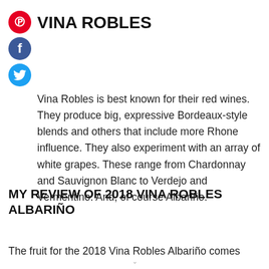VINA ROBLES
Vina Robles is best known for their red wines. They produce big, expressive Bordeaux-style blends and others that include more Rhone influence. They also experiment with an array of white grapes. These range from Chardonnay and Sauvignon Blanc to Verdejo and Vermentino. And, of course Albariño.
MY REVIEW OF 2018 VINA ROBLES ALBARIÑO
The fruit for the 2018 Vina Robles Albariño comes